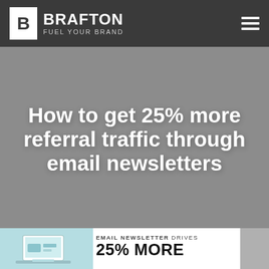BRAFTON FUEL YOUR BRAND
How to get 25% more referral traffic through email newsletters
[Figure (infographic): Infographic strip showing teal laptop/tablet illustration on the left, center text reading EMAIL NEWSLETTER DRIVES 25% MORE, right edge shows partial gray element]